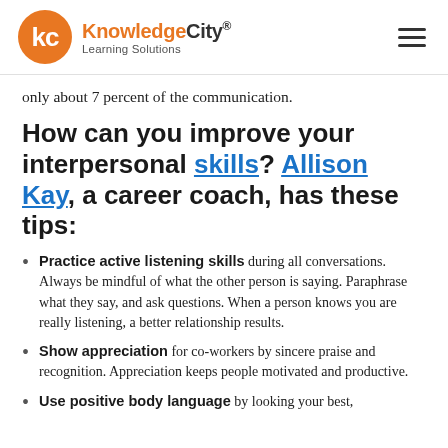KnowledgeCity® Learning Solutions
only about 7 percent of the communication.
How can you improve your interpersonal skills? Allison Kay, a career coach, has these tips:
Practice active listening skills during all conversations. Always be mindful of what the other person is saying. Paraphrase what they say, and ask questions. When a person knows you are really listening, a better relationship results.
Show appreciation for co-workers by sincere praise and recognition. Appreciation keeps people motivated and productive.
Use positive body language by looking your best,